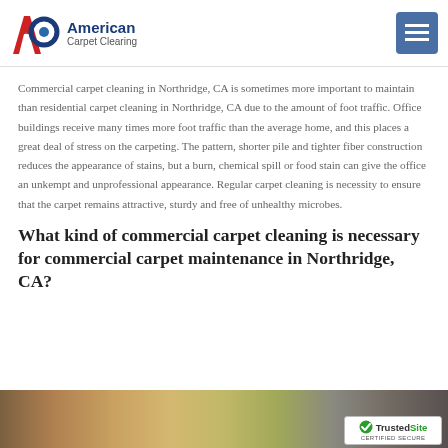American Carpet Cleaning
Commercial carpet cleaning in Northridge, CA is sometimes more important to maintain than residential carpet cleaning in Northridge, CA due to the amount of foot traffic. Office buildings receive many times more foot traffic than the average home, and this places a great deal of stress on the carpeting. The pattern, shorter pile and tighter fiber construction reduces the appearance of stains, but a burn, chemical spill or food stain can give the office an unkempt and unprofessional appearance. Regular carpet cleaning is necessity to ensure that the carpet remains attractive, sturdy and free of unhealthy microbes.
What kind of commercial carpet cleaning is necessary for commercial carpet maintenance in Northridge, CA?
[Figure (photo): Bottom strip of a photo showing a commercial interior, partially visible at the bottom of the page. TrustedSite Certified Secure badge overlaid in bottom-right corner.]